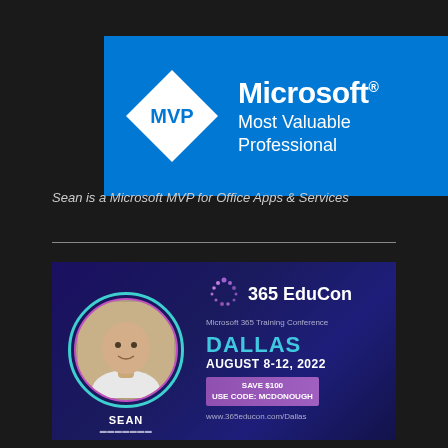[Figure (logo): Microsoft MVP (Most Valuable Professional) logo banner — blue background with white diamond shape containing 'MVP' text, beside 'Microsoft® Most Valuable Professional' in white text]
Sean is a Microsoft MVP for Office Apps & Services
[Figure (infographic): 365 EduCon Microsoft 365 Training Conference promotional banner — dark purple background with circular profile photo of Sean, conference name '365 EduCon', 'Microsoft 365 Training Conference', 'DALLAS', 'AUGUST 8-12, 2022', 'SAVE $100 USE CODE: MCDONOUGH', 'www.365educon.com/Dallas', and name 'SEAN' at bottom]